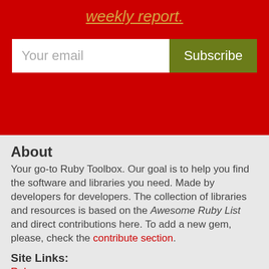weekly report.
[Figure (screenshot): Email subscription form with 'Your email' input field and 'Subscribe' button on red background]
About
Your go-to Ruby Toolbox. Our goal is to help you find the software and libraries you need. Made by developers for developers. The collection of libraries and resources is based on the Awesome Ruby List and direct contributions here. To add a new gem, please, check the contribute section.
Site Links:
Ruby Newsletter   Categories   Tags   Changelogs   About
Become a sponsor